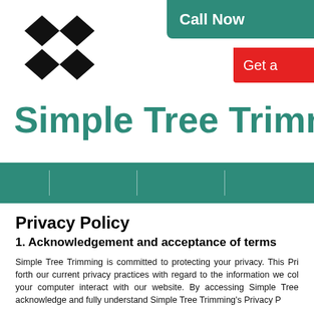[Figure (logo): Black diamond/rhombus grid logo (2x2 rotated squares)]
Call Now
Get a
Simple Tree Trimm
Privacy Policy
1. Acknowledgement and acceptance of terms
Simple Tree Trimming is committed to protecting your privacy. This Pri forth our current privacy practices with regard to the information we col your computer interact with our website. By accessing Simple Tree acknowledge and fully understand Simple Tree Trimming's Privacy P